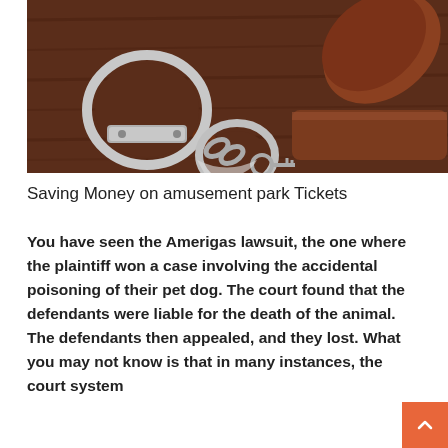[Figure (photo): Photo of handcuffs and a wooden judge's gavel on a dark brown wooden surface]
Saving Money on amusement park Tickets
You have seen the Amerigas lawsuit, the one where the plaintiff won a case involving the accidental poisoning of their pet dog. The court found that the defendants were liable for the death of the animal. The defendants then appealed, and they lost. What you may not know is that in many instances, the court system